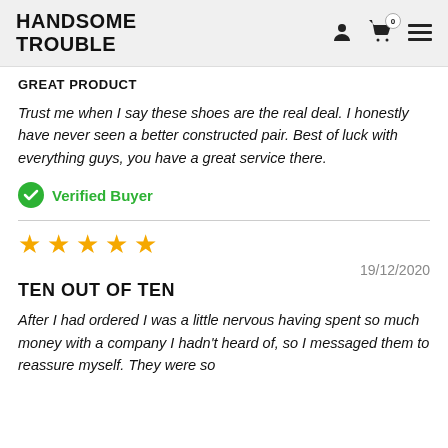HANDSOME TROUBLE
GREAT PRODUCT
Trust me when I say these shoes are the real deal. I honestly have never seen a better constructed pair. Best of luck with everything guys, you have a great service there.
✔ Verified Buyer
★★★★★
19/12/2020
TEN OUT OF TEN
After I had ordered I was a little nervous having spent so much money with a company I hadn't heard of, so I messaged them to reassure myself. They were so